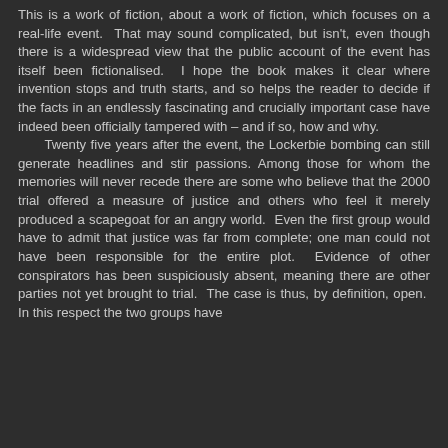This is a work of fiction, about a work of fiction, which focuses on a real-life event. That may sound complicated, but isn't, even though there is a widespread view that the public account of the event has itself been fictionalised. I hope the book makes it clear where invention stops and truth starts, and so helps the reader to decide if the facts in an endlessly fascinating and crucially important case have indeed been officially tampered with – and if so, how and why.
	Twenty five years after the event, the Lockerbie bombing can still generate headlines and stir passions. Among those for whom the memories will never recede there are some who believe that the 2000 trial offered a measure of justice and others who feel it merely produced a scapegoat for an angry world. Even the first group would have to admit that justice was far from complete; one man could not have been responsible for the entire plot. Evidence of other conspirators has been suspiciously absent, meaning there are other parties not yet brought to trial. The case is thus, by definition, open. In this respect the two groups have